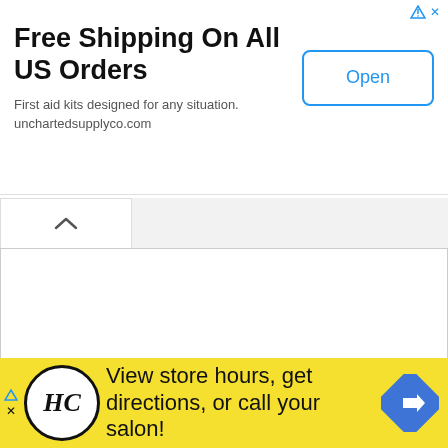[Figure (screenshot): Mobile advertisement banner for unchartedsupplyco.com: 'Free Shipping On All US Orders' with 'Open' button, ad markers top right]
Free Shipping On All US Orders
First aid kits designed for any situation.
unchartedsupplyco.com
[Figure (screenshot): White collapse/minimize tab with up-arrow chevron, and white content area below]
The Ultimate NW Fishing Map App!
[Figure (screenshot): App screenshot showing dark red status bar with Safari, 1:31 PM, signal/battery indicators]
[Figure (screenshot): Bottom advertisement banner with HC logo circle on yellow background, text 'View store hours, get directions, or call your salon!' and blue diamond arrow icon on right]